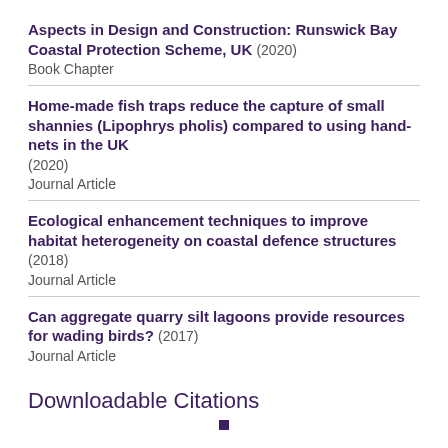Aspects in Design and Construction: Runswick Bay Coastal Protection Scheme, UK (2020) Book Chapter
Home-made fish traps reduce the capture of small shannies (Lipophrys pholis) compared to using hand-nets in the UK (2020) Journal Article
Ecological enhancement techniques to improve habitat heterogeneity on coastal defence structures (2018) Journal Article
Can aggregate quarry silt lagoons provide resources for wading birds? (2017) Journal Article
Downloadable Citations